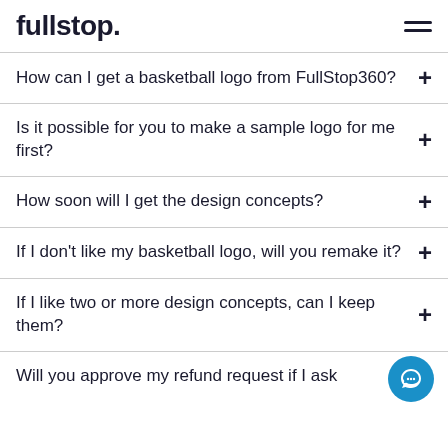fullstop.
How can I get a basketball logo from FullStop360?
Is it possible for you to make a sample logo for me first?
How soon will I get the design concepts?
If I don't like my basketball logo, will you remake it?
If I like two or more design concepts, can I keep them?
Will you approve my refund request if I ask for it?